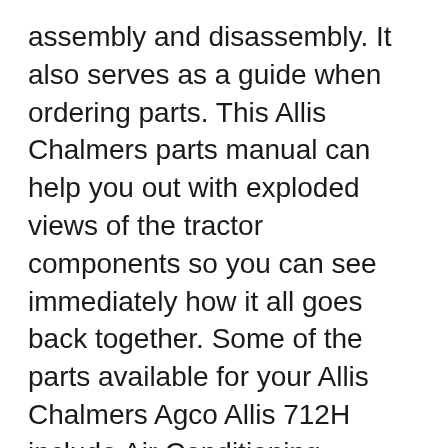assembly and disassembly. It also serves as a guide when ordering parts. This Allis Chalmers parts manual can help you out with exploded views of the tractor components so you can see immediately how it all goes back together. Some of the parts available for your Allis Chalmers Agco Allis 712H include Air Conditioning, Electrical & Gauges, Lawn and Garden and Specialty Belts, Lights and Related, Manuals and DVDs, Radiator & Cooling System, Sheet Metal and Body, Shop Supply.
Some of the parts available for your Allis Chalmers Agco Allis 712H include Air Conditioning, Electrical & Gauges, Lawn and Garden and Specialty Bolts